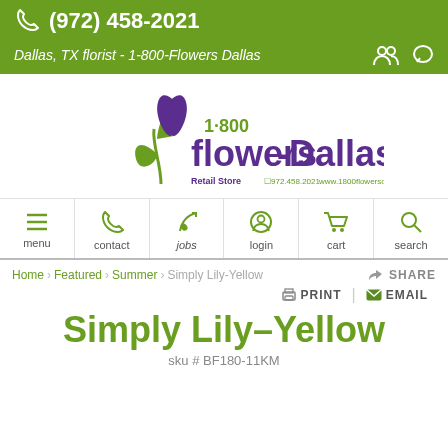(972) 458-2021
Dallas, TX florist - 1-800-Flowers Dallas
[Figure (logo): 1-800 flowers-Dallas logo with tulip graphic, Retail Store, 972.458.2021, www.1800flowersdallas.com]
[Figure (infographic): Navigation icon row: menu, contact, jobs, login, cart, search]
Home > Featured > Summer > Simply Lily-Yellow   SHARE
PRINT | EMAIL
Simply Lily-Yellow
sku # BF180-11KM